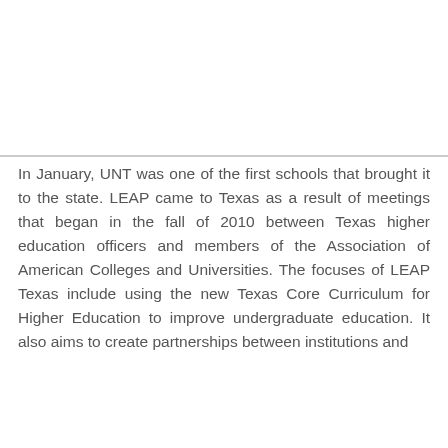In January, UNT was one of the first schools that brought it to the state. LEAP came to Texas as a result of meetings that began in the fall of 2010 between Texas higher education officers and members of the Association of American Colleges and Universities. The focuses of LEAP Texas include using the new Texas Core Curriculum for Higher Education to improve undergraduate education. It also aims to create partnerships between institutions and